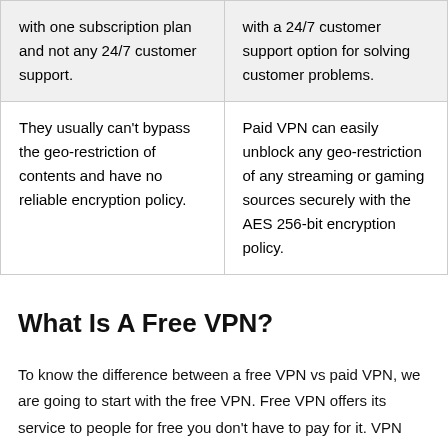| with one subscription plan and not any 24/7 customer support. | with a 24/7 customer support option for solving customer problems. |
| They usually can't bypass the geo-restriction of contents and have no reliable encryption policy. | Paid VPN can easily unblock any geo-restriction of any streaming or gaming sources securely with the AES 256-bit encryption policy. |
What Is A Free VPN?
To know the difference between a free VPN vs paid VPN, we are going to start with the free VPN. Free VPN offers its service to people for free you don't have to pay for it. VPN works through servers and operating staff which is costly. Free VPN does not charge a subscription fee but they also